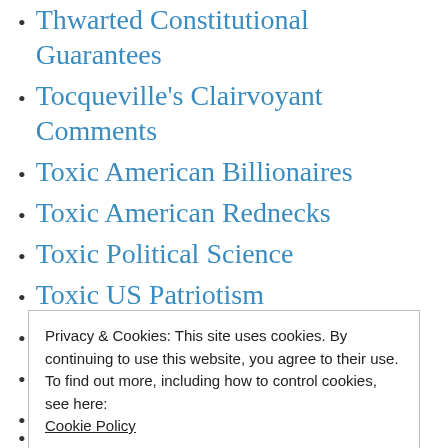Thwarted Constitutional Guarantees
Tocqueville's Clairvoyant Comments
Toxic American Billionaires
Toxic American Rednecks
Toxic Political Science
Toxic US Patriotism
Trillionaire Afghan War
Trolls in Washington
Troops on Streets
Truman's Japanese Bombings
Trump Alarms Generals
Privacy & Cookies: This site uses cookies. By continuing to use this website, you agree to their use.
To find out more, including how to control cookies, see here:
Cookie Policy
Trump handlers